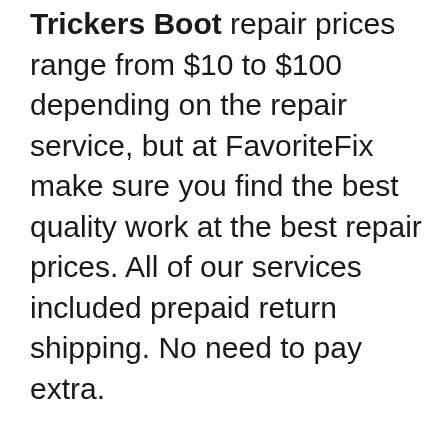Trickers Boot repair prices range from $10 to $100 depending on the repair service, but at FavoriteFix make sure you find the best quality work at the best repair prices. All of our services included prepaid return shipping. No need to pay extra.